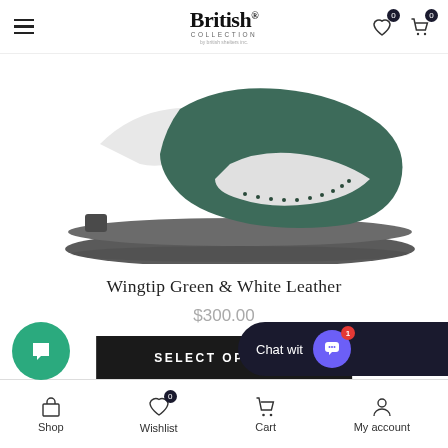British Collection (logo with hamburger menu, wishlist icon badge 0, cart icon badge 0)
[Figure (photo): Close-up photo of a green and white wingtip brogue leather shoe with a dark textured sole, shown on a white background.]
Wingtip Green & White Leather
$300.00
SELECT OPTIONS
Shop | Wishlist (badge 0) | Cart | My account | Chat with us widget